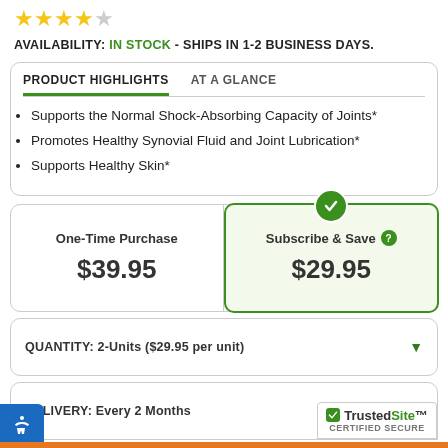[Figure (other): Four filled gold stars and one empty/grey star rating]
AVAILABILITY: IN STOCK - SHIPS IN 1-2 BUSINESS DAYS.
PRODUCT HIGHLIGHTS   AT A GLANCE
Supports the Normal Shock-Absorbing Capacity of Joints*
Promotes Healthy Synovial Fluid and Joint Lubrication*
Supports Healthy Skin*
One-Time Purchase $39.95
Subscribe & Save $29.95
QUANTITY: 2-Units ($29.95 per unit)
DELIVERY: Every 2 Months